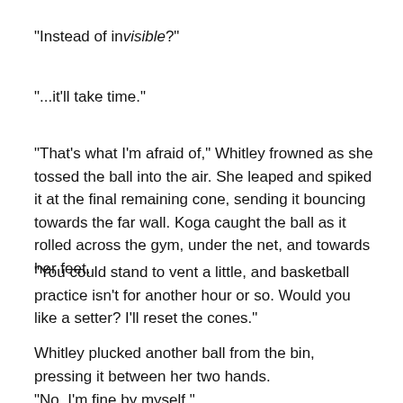"Instead of invisible?"
"...it'll take time."
"That's what I'm afraid of," Whitley frowned as she tossed the ball into the air. She leaped and spiked it at the final remaining cone, sending it bouncing towards the far wall. Koga caught the ball as it rolled across the gym, under the net, and towards her feet.
"You could stand to vent a little, and basketball practice isn't for another hour or so. Would you like a setter? I'll reset the cones."
Whitley plucked another ball from the bin, pressing it between her two hands.
"No, I'm fine by myself."